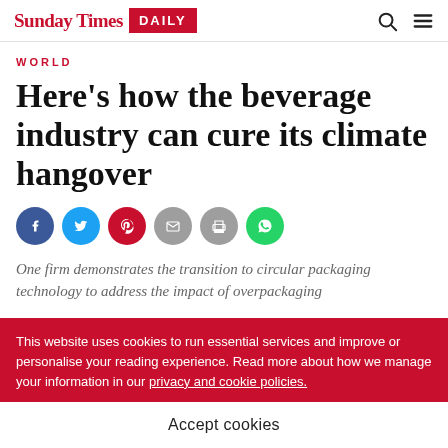Sunday Times DAILY
WORLD
Here’s how the beverage industry can cure its climate hangover
[Figure (infographic): Social share icons row: Facebook, Twitter, Pinterest, Email, Print, WhatsApp]
One firm demonstrates the transition to circular packaging technology to address the impact of overpackaging
This website uses cookies to run essential services and improve or personalise your reading experience. Read more about how we manage your information in our privacy and cookie policies.
Accept cookies